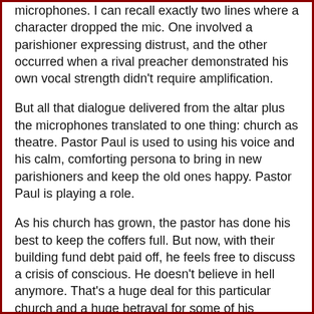microphones. I can recall exactly two lines where a character dropped the mic. One involved a parishioner expressing distrust, and the other occurred when a rival preacher demonstrated his own vocal strength didn't require amplification.
But all that dialogue delivered from the altar plus the microphones translated to one thing: church as theatre. Pastor Paul is used to using his voice and his calm, comforting persona to bring in new parishioners and keep the old ones happy. Pastor Paul is playing a role.
As his church has grown, the pastor has done his best to keep the coffers full. But now, with their building fund debt paid off, he feels free to discuss a crisis of conscious. He doesn't believe in hell anymore. That's a huge deal for this particular church and a huge betrayal for some of his parishioners. Those debates, those faith-based conflicts, are played out in the same way, as if they were announced right there in church, in front of God and everybody.
To Hnath's credit, he doesn't stack the deck. Each side gets